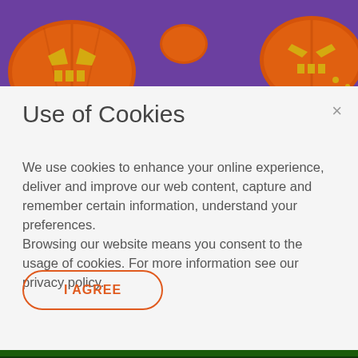[Figure (screenshot): Halloween-themed game banner with orange jack-o-lantern pumpkins on a purple background]
[Figure (screenshot): Forest/jungle game banner with a bear and small creature on a green background, with Yggdrasil logo in top right]
Use of Cookies
We use cookies to enhance your online experience, deliver and improve our web content, capture and remember certain information, understand your preferences.
Browsing our website means you consent to the usage of cookies. For more information see our privacy policy.
[Figure (screenshot): Bottom portion of a green casino game banner showing stylized text 'KNITBULL' in gold/yellow letters on green background]